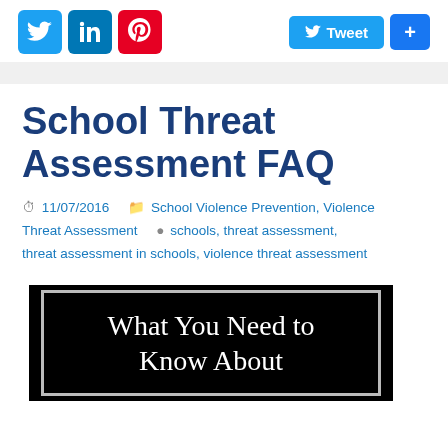[Figure (infographic): Social media share icons: Twitter (blue bird), LinkedIn (blue), Pinterest (red P), and Tweet button and share (+) button on the right]
School Threat Assessment FAQ
11/07/2016   School Violence Prevention, Violence Threat Assessment   schools, threat assessment, threat assessment in schools, violence threat assessment
[Figure (illustration): Black background image with white text reading: What You Need to Know About]